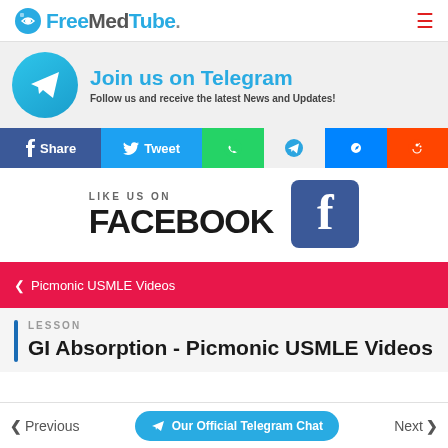FreeMedTube.
[Figure (infographic): Telegram promotional banner with Telegram logo circle icon and text 'Join us on Telegram - Follow us and receive the latest News and Updates!']
[Figure (infographic): Social share bar with Facebook Share, Twitter Tweet, WhatsApp, Telegram, Messenger, and Reddit buttons]
[Figure (infographic): Facebook like prompt with 'LIKE US ON' text, 'FACEBOOK' in large bold letters, and Facebook 'f' logo icon]
< Picmonic USMLE Videos
LESSON
GI Absorption - Picmonic USMLE Videos
< Previous   Our Official Telegram Chat   Next >